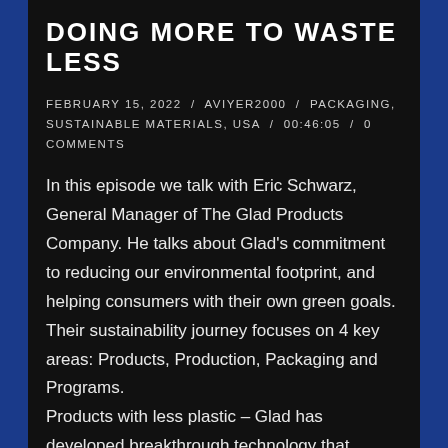DOING MORE TO WASTE LESS
FEBRUARY 15, 2022 / AVIYER2000 / PACKAGING, SUSTAINABLE MATERIALS, USA / 00:46:05 / 0 COMMENTS
In this episode we talk with Eric Schwarz, General Manager of The Glad Products Company. He talks about Glad’s commitment to reducing our environmental footprint, and helping consumers with their own green goals. Their sustainability journey focuses on 4 key areas: Products, Production, Packaging and Programs.
Products with less plastic – Glad has developed breakthrough technology that enables their most popular product, the